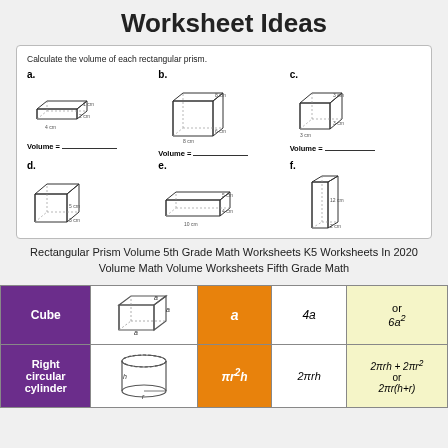Worksheet Ideas
[Figure (illustration): Worksheet showing 6 rectangular prisms (a-f) with dimensions labeled, and Volume = blank lines below each. Labels: a: 4cm, 2cm, 1cm; b: 8cm, 8cm, 6cm; c: 3cm, 3cm, 3cm; d: 5cm, 3cm; e: 10cm, 4cm, 5cm; f: 12cm, 2cm]
Rectangular Prism Volume 5th Grade Math Worksheets K5 Worksheets In 2020 Volume Math Volume Worksheets Fifth Grade Math
| Shape | Diagram | Volume | Lateral SA | Total SA |
| --- | --- | --- | --- | --- |
| Cube | [cube diagram with side a] | a | 4a | or
6a² |
| Right circular cylinder | [cylinder diagram with h and r] | πr²h | 2πrh | 2πrh + 2πr²
or
2πr(h+r) |